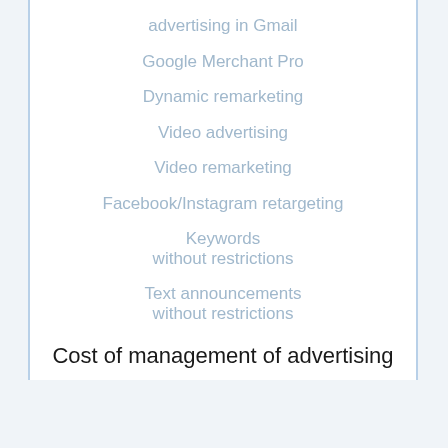advertising in Gmail
Google Merchant Pro
Dynamic remarketing
Video advertising
Video remarketing
Facebook/Instagram retargeting
Keywords without restrictions
Text announcements without restrictions
Cost of management of advertising
600 $